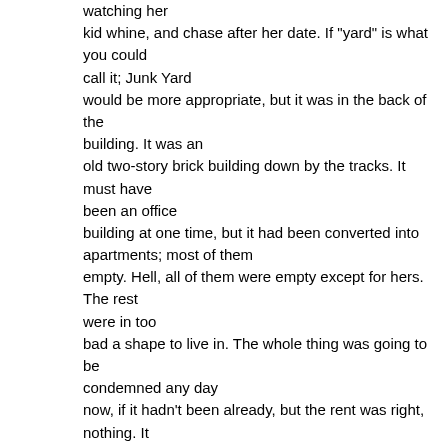watching her kid whine, and chase after her date. If "yard" is what you could call it; Junk Yard would be more appropriate, but it was in the back of the building. It was an old two-story brick building down by the tracks. It must have been an office building at one time, but it had been converted into apartments; most of them empty. Hell, all of them were empty except for hers. The rest were in too bad a shape to live in. The whole thing was going to be condemned any day now, if it hadn't been already, but the rent was right, nothing. It belonged to one of her old boyfriends who would stop by from time to time to "collect the rent." She didn't mind, he treated her nice and he didn't smell. She had no idea where she would live if they tore the place down, especially with the brat. She had a few friends who would put her up for awhile, but not with the kid. The damn kid was always in the way; he always ruined everything.

She sat there in her almost good nightgown. The pale pink one with blue and white flowers on it. It was only a year old, but it had seen a lot
She sat there in her almost good nightgown. The pale pink one with blue and white flowers on it. It was only a year old, but it had seen a lot